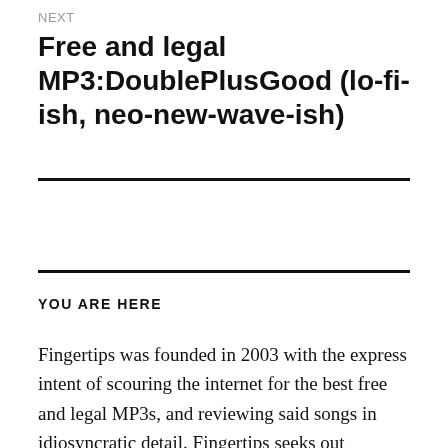NEXT
Free and legal MP3:DoublePlusGood (lo-fi-ish, neo-new-wave-ish)
YOU ARE HERE
Fingertips was founded in 2003 with the express intent of scouring the internet for the best free and legal MP3s, and reviewing said songs in idiosyncratic detail. Fingertips seeks out 21st-century music with heart and spirit, grounded in one sort of rock’n’roll lineage or another but with feet planted solidly in the